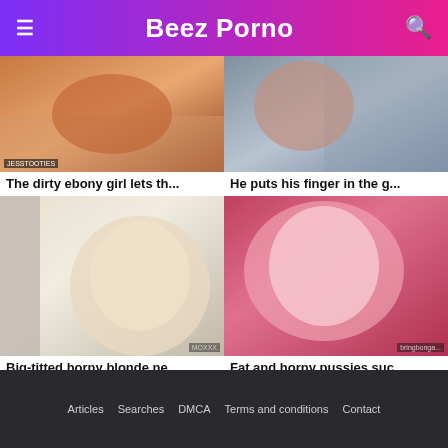Beez Porno
[Figure (photo): Thumbnail image for video: The dirty ebony girl lets th...]
The dirty ebony girl lets th...
[Figure (photo): Thumbnail image for video: He puts his finger in the g...]
He puts his finger in the g...
[Figure (photo): Thumbnail image for video: Big-titted horny blonde ne...]
Big-titted horny blonde ne...
[Figure (photo): Thumbnail image for video: Fat and horny pussies suc...]
Fat and horny pussies suc...
Porn videos with Horny striptease
Articles  Searches  DMCA  Terms and conditions  Contact